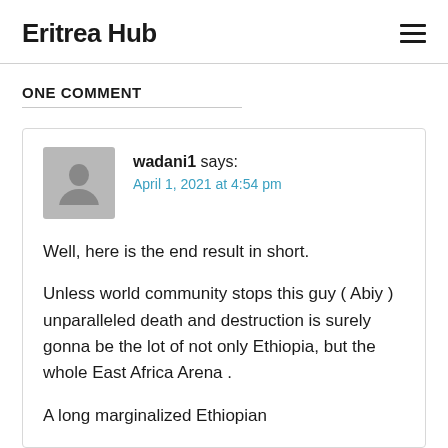Eritrea Hub
ONE COMMENT
wadani1 says:
April 1, 2021 at 4:54 pm

Well, here is the end result in short.

Unless world community stops this guy ( Abiy ) unparalleled death and destruction is surely gonna be the lot of not only Ethiopia, but the whole East Africa Arena .

A long marginalized Ethiopian